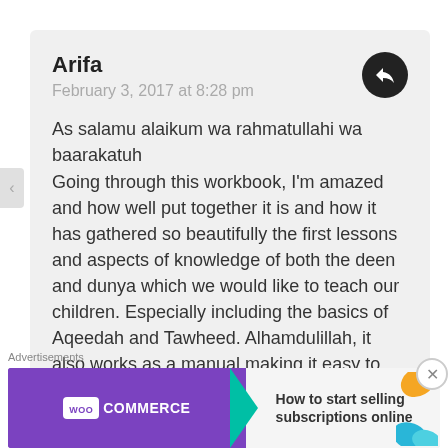Arifa
February 3, 2017 at 8:28 pm
As salamu alaikum wa rahmatullahi wa baarakatuh
Going through this workbook, I'm amazed and how well put together it is and how it has gathered so beautifully the first lessons and aspects of knowledge of both the deen and dunya which we would like to teach our children. Especially including the basics of Aqeedah and Tawheed. Alhamdulillah, it also works as a manual making it easy to teach children step by step, and you can refer to the different
Advertisements
[Figure (screenshot): WooCommerce advertisement banner: purple left half with WooCommerce logo and teal arrow, white right half with text 'How to start selling subscriptions online' and decorative orange and blue leaf shapes]